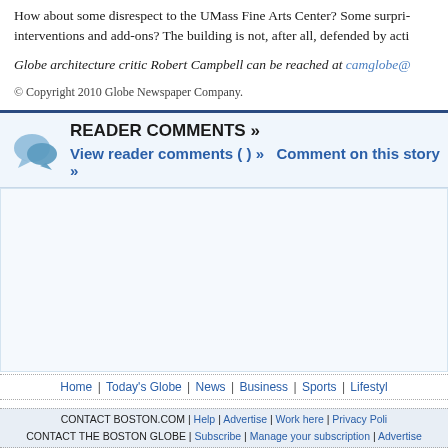How about some disrespect to the UMass Fine Arts Center? Some surpri... interventions and add-ons? The building is not, after all, defended by acti...
Globe architecture critic Robert Campbell can be reached at camglobe@...
© Copyright 2010 Globe Newspaper Company.
READER COMMENTS »
View reader comments ( ) »   Comment on this story »
Home | Today's Globe | News | Business | Sports | Lifestyl...
CONTACT BOSTON.COM | Help | Advertise | Work here | Privacy Poli... | CONTACT THE BOSTON GLOBE | Subscribe | Manage your subscription | Advertise...